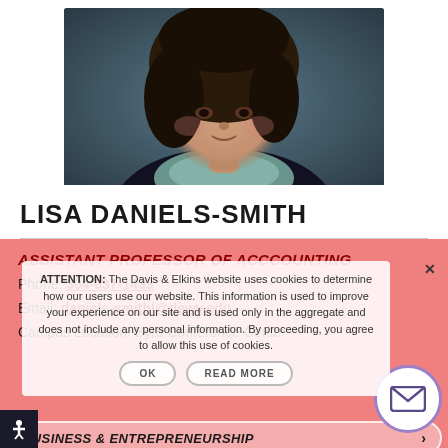[Figure (photo): Portrait photo of Lisa Daniels-Smith, a woman with dark curly hair wearing a dark top and teal scarf, photographed against a blue-gray background]
LISA DANIELS-SMITH
ASSISTANT PROFESSOR OF ACCCOUNTING
Phone: 304-637-1433
Email: daniels-smithl@dewv.edu
Campus Location: Byrd Conference Center
ATTENTION: The Davis & Elkins website uses cookies to determine how our users use our website. This information is used to improve your experience on our site and is used only in the aggregate and does not include any personal information. By proceeding, you agree to allow this use of cookies.
BUSINESS & ENTREPRENEURSHIP >